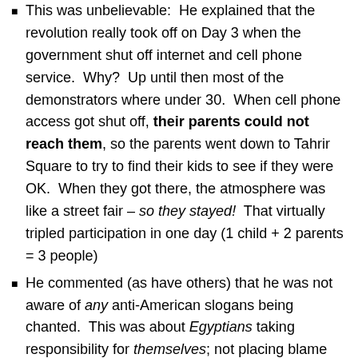This was unbelievable: He explained that the revolution really took off on Day 3 when the government shut off internet and cell phone service. Why? Up until then most of the demonstrators where under 30. When cell phone access got shut off, their parents could not reach them, so the parents went down to Tahrir Square to try to find their kids to see if they were OK. When they got there, the atmosphere was like a street fair – so they stayed! That virtually tripled participation in one day (1 child + 2 parents = 3 people)
He commented (as have others) that he was not aware of any anti-American slogans being chanted. This was about Egyptians taking responsibility for themselves; not placing blame on someone else
He strongly recommends that the West deal with the